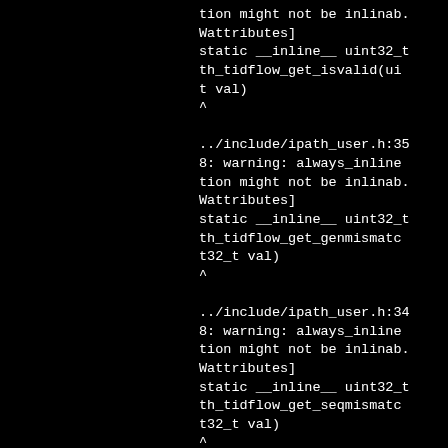tion might not be inlinab. Wattributes] static __inline__ uint32_t th_tidflow_get_isvalid(ui t val) ^ ../include/ipath_user.h:35 8: warning: always_inline tion might not be inlinab. Wattributes] static __inline__ uint32_t th_tidflow_get_genmismatc t32_t val) ^ ../include/ipath_user.h:34 8: warning: always_inline tion might not be inlinab. Wattributes] static __inline__ uint32_t th_tidflow_get_seqmismatc t32_t val) ^ ../include/ipath_user.h:34